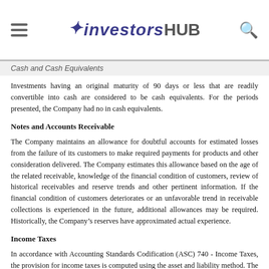investorshub
Cash and Cash Equivalents
Investments having an original maturity of 90 days or less that are readily convertible into cash are considered to be cash equivalents. For the periods presented, the Company had no in cash equivalents.
Notes and Accounts Receivable
The Company maintains an allowance for doubtful accounts for estimated losses from the failure of its customers to make required payments for products and other consideration delivered. The Company estimates this allowance based on the age of the related receivable, knowledge of the financial condition of customers, review of historical receivables and reserve trends and other pertinent information. If the financial condition of customers deteriorates or an unfavorable trend in receivable collections is experienced in the future, additional allowances may be required. Historically, the Company’s reserves have approximated actual experience.
Income Taxes
In accordance with Accounting Standards Codification (ASC) 740 - Income Taxes, the provision for income taxes is computed using the asset and liability method. The asset and liability method measures deferred income taxes by applying enacted statutory rates in effect at the balance sheet date to the differences between the tax basis of assets and liabilities and their reported